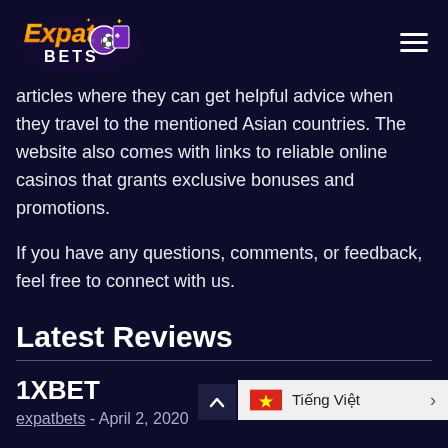[Figure (logo): ExpatBets logo with stylized text and playing cards/soccer ball icon]
articles where they can get helpful advice when they travel to the mentioned Asian countries. The website also comes with links to reliable online casinos that grants exclusive bonuses and promotions.
If you have any questions, comments, or feedback, feel free to connect with us.
Latest Reviews
1XBET
expatbets - April 2, 2020
WeBet
[Figure (infographic): Language selector overlay showing Vietnamese flag and Tiếng Việt option with arrow]